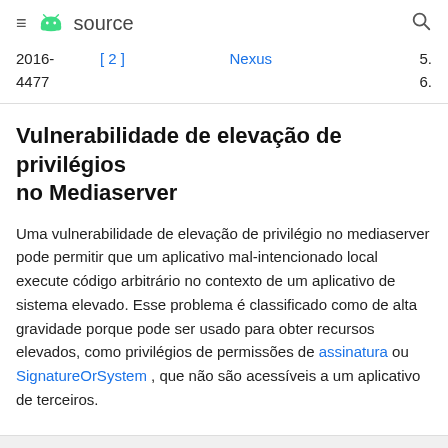≡ source (Android source) with search icon
| 2016-4477 | [2] | Nexus | 5.
6. |
Vulnerabilidade de elevação de privilégios no Mediaserver
Uma vulnerabilidade de elevação de privilégio no mediaserver pode permitir que um aplicativo mal-intencionado local execute código arbitrário no contexto de um aplicativo de sistema elevado. Esse problema é classificado como de alta gravidade porque pode ser usado para obter recursos elevados, como privilégios de permissões de assinatura ou SignatureOrSystem , que não são acessíveis a um aplicativo de terceiros.